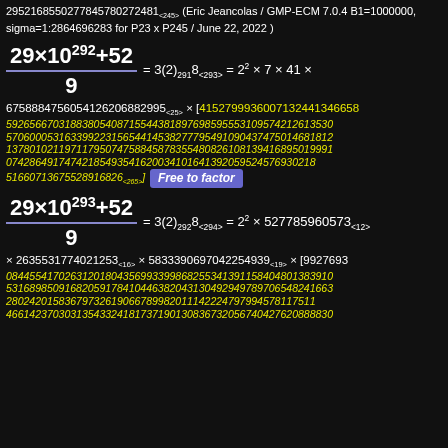2952168550277845780272481<245> (Eric Jeancolas / GMP-ECM 7.0.4 B1=1000000, sigma=1:2864696283 for P23 x P245 / June 22, 2022 )